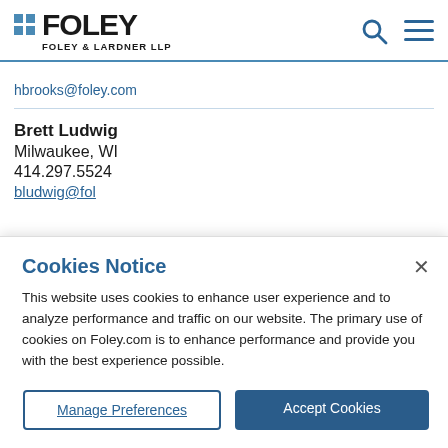FOLEY — FOLEY & LARDNER LLP
hbrooks@foley.com
Brett Ludwig
Milwaukee, WI
414.297.5524
Cookies Notice
This website uses cookies to enhance user experience and to analyze performance and traffic on our website. The primary use of cookies on Foley.com is to enhance performance and provide you with the best experience possible.
Manage Preferences | Accept Cookies